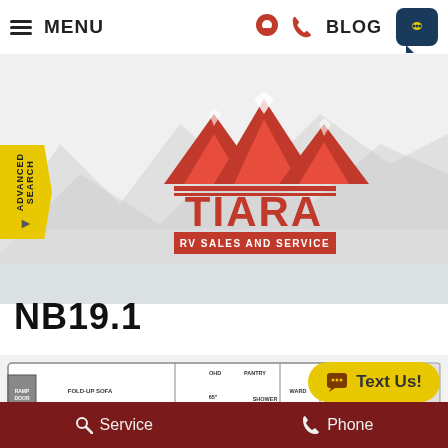MENU | location icon | phone icon | BLOG | chat icon
[Figure (logo): Tiara RV Sales and Service logo with red mountains graphic above red TIARA text and RV SALES AND SERVICE subtitle, on mountain/forest background]
ADVANCED SEARCH
NB19.1
[Figure (schematic): RV floor plan diagram showing: RAMP DOOR on left, FOLD-UP SOFA, OHD, PANTRY, 65 BETWEEN WHEEL WELLS, SHOWER, WARD, SHELF, 127 inch length marker, ENT. CTR., 69 x 80 bed area, and various other interior features]
Text Us!
Service | Phone